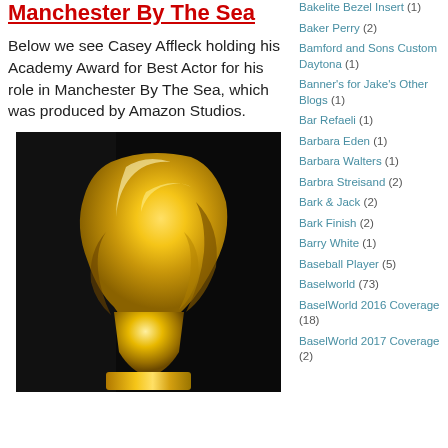Manchester By The Sea
Below we see Casey Affleck holding his Academy Award for Best Actor for his role in Manchester By The Sea, which was produced by Amazon Studios.
[Figure (photo): Close-up photo of a golden Oscar statuette against a dark background]
Bakelite Bezel Insert (1)
Baker Perry (2)
Bamford and Sons Custom Daytona (1)
Banner's for Jake's Other Blogs (1)
Bar Refaeli (1)
Barbara Eden (1)
Barbara Walters (1)
Barbra Streisand (2)
Bark & Jack (2)
Bark Finish (2)
Barry White (1)
Baseball Player (5)
Baselworld (73)
BaselWorld 2016 Coverage (18)
BaselWorld 2017 Coverage (2)